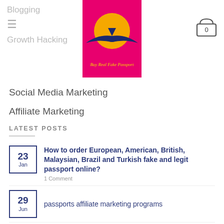Blogging | (menu icon) | Growth Hacking
[Figure (logo): Pink/magenta background logo with orange sun, dark blue airplane/bird silhouette, and yellow text 'Buy Real Fake Passport']
Social Media Marketing
Affiliate Marketing
LATEST POSTS
23 Jan - How to order European, American, British, Malaysian, Brazil and Turkish fake and legit passport online? - 1 Comment
29 Jun - passports affiliate marketing programs
Passports Social Media Marketing